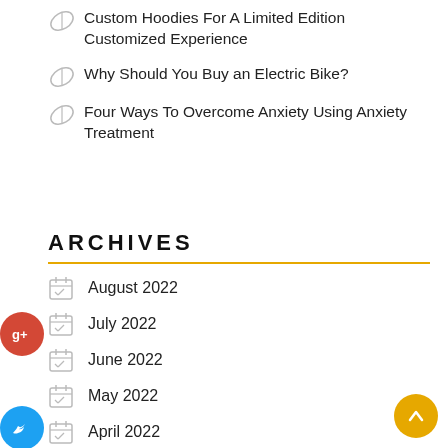Custom Hoodies For A Limited Edition Customized Experience
Why Should You Buy an Electric Bike?
Four Ways To Overcome Anxiety Using Anxiety Treatment
ARCHIVES
August 2022
July 2022
June 2022
May 2022
April 2022
March 2022